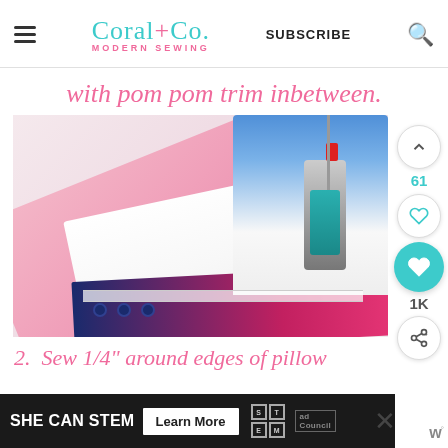Coral+Co. MODERN SEWING | SUBSCRIBE
with pom pom trim inbetween.
[Figure (photo): Close-up photo of a sewing machine stitching layers of fabric including pink patterned fabric, white fabric, and navy/pink fabric, from the Coral+Co Modern Sewing blog.]
61
1K
2. Sew 1/4" around edges of pillow
SHE CAN STEM  Learn More